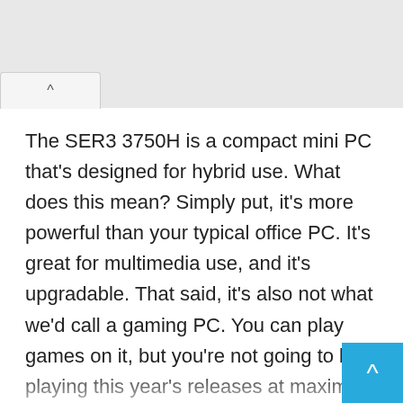^ (tab/scroll button)
The SER3 3750H is a compact mini PC that's designed for hybrid use. What does this mean? Simply put, it's more powerful than your typical office PC. It's great for multimedia use, and it's upgradable. That said, it's also not what we'd call a gaming PC. You can play games on it, but you're not going to be playing this year's releases at maximum settings. But is this the right mini PC for you? To find out, we have to dig deeper into its design and build. We'll have to look at each of the individual components, and see how they perform. We'll also have to look at how upgradable it is, as well as what you can do with it. Then, we'll have a complete